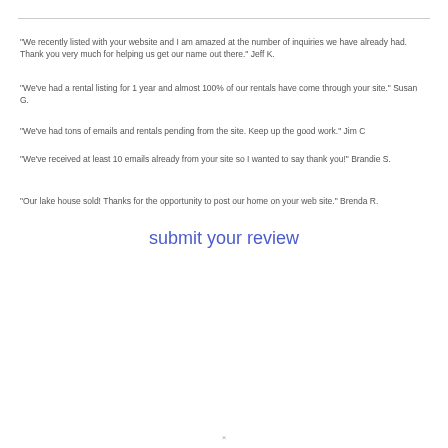"We recently listed with your website and I am amazed at the number of inquiries we have already had. Thank you very much for helping us get our name out there." Jeff K.
"We've had a rental listing for 1 year and almost 100% of our rentals have come through your site." Susan G.
"We've had tons of emails and rentals pending from the site. Keep up the good work." Jim C
"We've received at least 10 emails already from your site so I wanted to say thank you!" Brandie S.
"Our lake house sold! Thanks for the opportunity to post our home on your web site." Brenda R.
submit your review
×